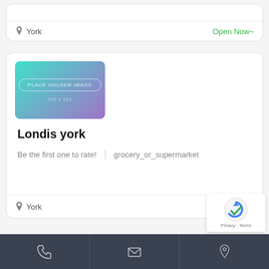York
Open Now~
[Figure (illustration): Placeholder image with teal-to-purple gradient background, with a rounded rectangle border and text 'PLACE HOLDER IMAGE']
Londis york
Be the first one to rate!  |  grocery_or_supermarket
York
[Figure (illustration): Bottom navigation bar with phone, email, and location icons on dark background]
[Figure (logo): reCAPTCHA badge with Google branding and Privacy/Terms links]